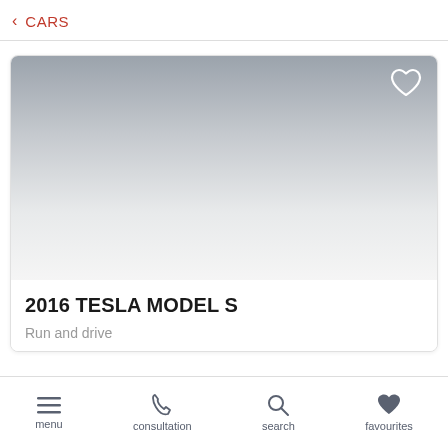< CARS
[Figure (screenshot): Car listing card showing a 2016 Tesla Model S with a grey gradient image placeholder area and a heart/favourite icon in the top right corner of the image.]
2016 TESLA MODEL S
Run and drive
menu  consultation  search  favourites